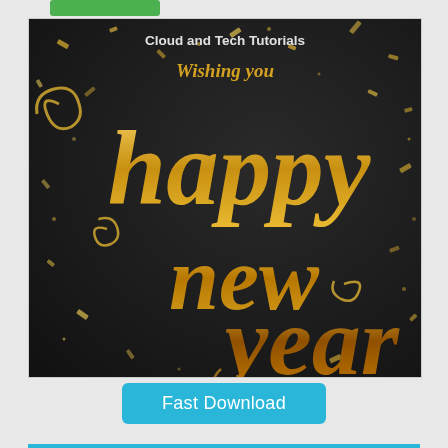[Figure (illustration): Dark background greeting card image with gold glitter confetti, featuring 'Cloud and Tech Tutorials' brand text at top, italic 'Wishing you' subtitle, and large decorative gold calligraphy script reading 'happy new year' with curl decorations]
Fast Download